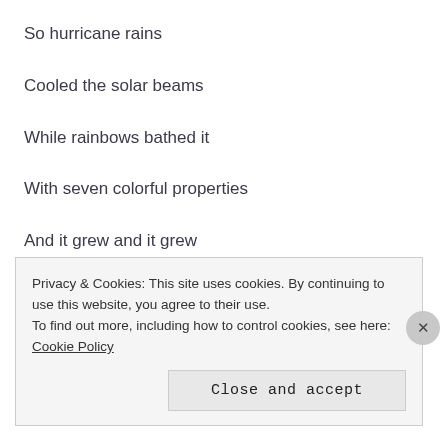So hurricane rains
Cooled the solar beams
While rainbows bathed it
With seven colorful properties
And it grew and it grew
Until the blossom peeped through
And it was all
Privacy & Cookies: This site uses cookies. By continuing to use this website, you agree to their use.
To find out more, including how to control cookies, see here: Cookie Policy
Close and accept